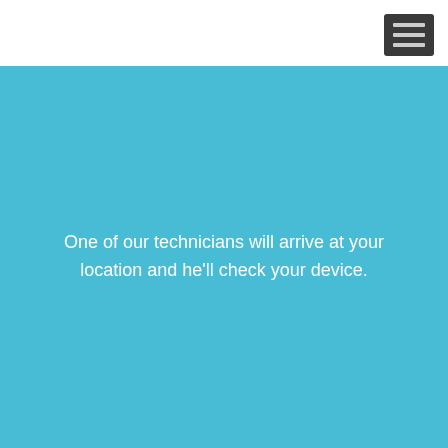[Figure (other): Dark gray hamburger menu icon (three horizontal bars) in top-right corner on white background]
One of our technicians will arrive at your location and he'll check your device.